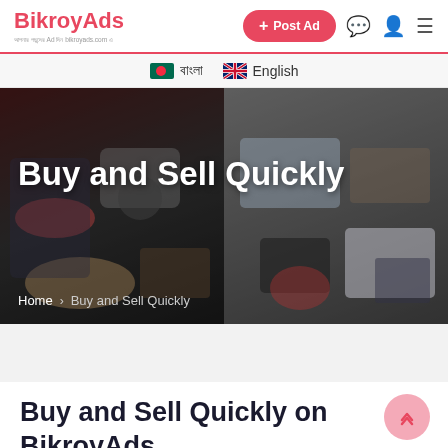BikroyAds — আপনার পছন্দের Ad দিন bikroyads.com এ — + Post Ad
বাংলা   English
[Figure (screenshot): Hero banner showing collage of products: motorcycle, camera, car, shoes, electronics, appliances. Large white text: 'Buy and Sell Quickly'. Breadcrumb: Home > Buy and Sell Quickly]
Buy and Sell Quickly on BikroyAds